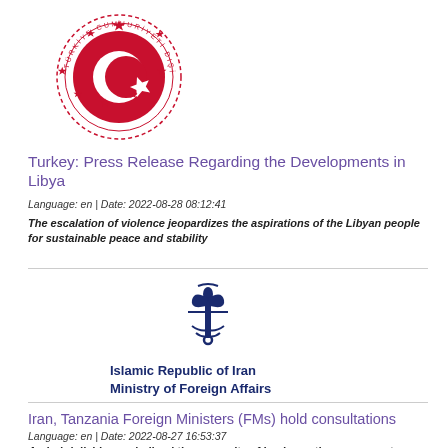[Figure (logo): Turkey Ministry of Foreign Affairs circular emblem with red crescent and star, red text around border, red stars]
Turkey: Press Release Regarding the Developments in Libya
Language: en | Date: 2022-08-28 08:12:41
The escalation of violence jeopardizes the aspirations of the Libyan people for sustainable peace and stability
[Figure (logo): Islamic Republic of Iran Ministry of Foreign Affairs emblem — dark blue stylized tulip/Allah symbol]
Islamic Republic of Iran
Ministry of Foreign Affairs
Iran, Tanzania Foreign Ministers (FMs) hold consultations
Language: en | Date: 2022-08-27 16:53:37
Amirabdollahian underlined the necessity of implementing agreements